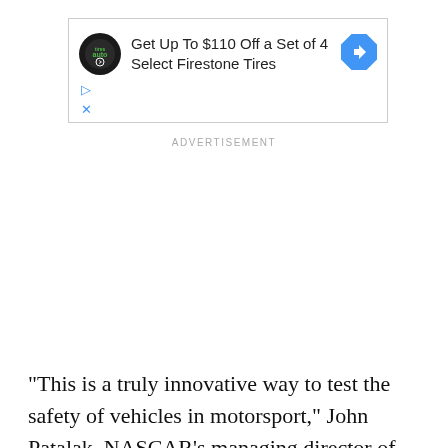[Figure (other): Advertisement banner for Firestone Tires: 'Get Up To $110 Off a Set of 4 Select Firestone Tires' with Firestone Auto logo and blue diamond arrow icon, plus play and close controls]
ADVERTISEMENT
“This is a truly innovative way to test the safety of vehicles in motorsport,” John Patalak, NASCAR’s managing director of safety